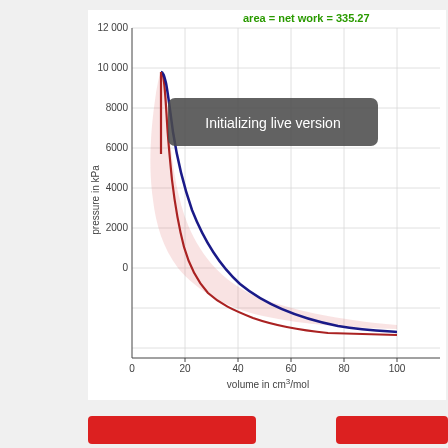[Figure (continuous-plot): P-V diagram showing two curves (red and blue/dark) enclosing a shaded pink area representing net work = 335.27. X-axis: volume 0–100 cm³/mol. Y-axis: pressure 0–12000 kPa. Both curves start near (12, 10000) and decay hyperbolically; the red curve lies to the left and the blue curve to the right, converging near (100, ~400). A gray overlay box reads 'Initializing live version'.]
Initializing live version